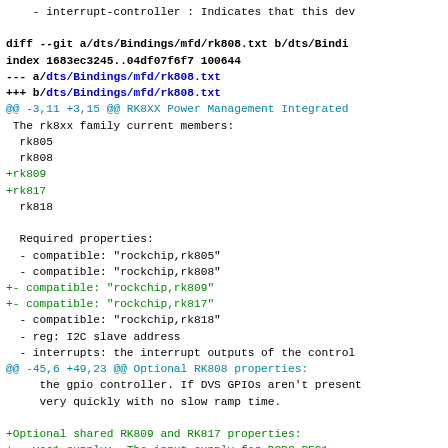- interrupt-controller : Indicates that this dev
diff --git a/dts/Bindings/mfd/rk808.txt b/dts/Bindi
index 1683ec3245..04df07f6f7 100644
--- a/dts/Bindings/mfd/rk808.txt
+++ b/dts/Bindings/mfd/rk808.txt
@@ -3,11 +3,15 @@ RK8XX Power Management Integrated
 The rk8xx family current members:
  rk805
  rk808
+rk809
+rk817
  rk818

  Required properties:
  - compatible: "rockchip,rk805"
  - compatible: "rockchip,rk808"
+- compatible: "rockchip,rk809"
+- compatible: "rockchip,rk817"
  - compatible: "rockchip,rk818"
  - reg: I2C slave address
  - interrupts: the interrupt outputs of the control
@@ -45,6 +49,23 @@ Optional RK808 properties:
     the gpio controller. If DVS GPIOs aren't present
     very quickly with no slow ramp time.

+Optional shared RK809 and RK817 properties:
+-  vcc1-supply:  The input supply for DCDC_REG1
+-  vcc2-supply:  The input supply for DCDC_REG2